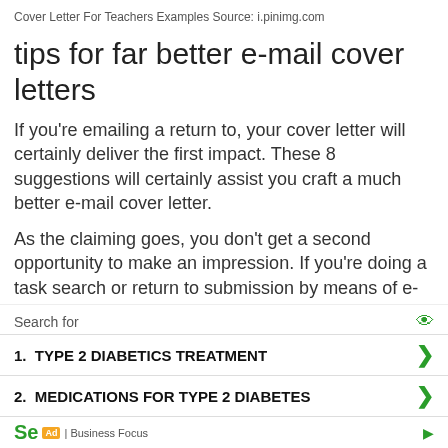Cover Letter For Teachers Examples Source: i.pinimg.com
tips for far better e-mail cover letters
If you're emailing a return to, your cover letter will certainly deliver the first impact. These 8 suggestions will certainly assist you craft a much better e-mail cover letter.
As the claiming goes, you don't get a second opportunity to make an impression. If you're doing a task search or return to submission by means of e-mail, the very first impression any type of company will certainly have is from your cove
Search for
1.  TYPE 2 DIABETICS TREATMENT
2.  MEDICATIONS FOR TYPE 2 DIABETES
Ad | Business Focus